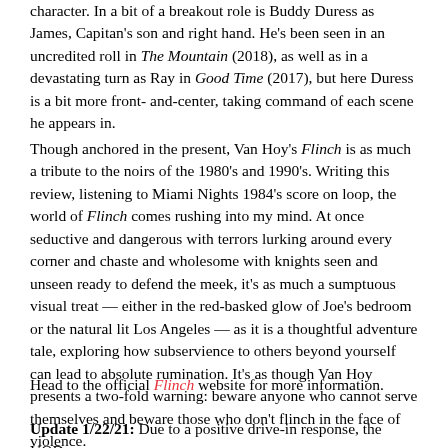character. In a bit of a breakout role is Buddy Duress as James, Capitan's son and right hand. He's been seen in an uncredited roll in The Mountain (2018), as well as in a devastating turn as Ray in Good Time (2017), but here Duress is a bit more front-and-center, taking command of each scene he appears in.
Though anchored in the present, Van Hoy's Flinch is as much a tribute to the noirs of the 1980's and 1990's. Writing this review, listening to Miami Nights 1984's score on loop, the world of Flinch comes rushing into my mind. At once seductive and dangerous with terrors lurking around every corner and chaste and wholesome with knights seen and unseen ready to defend the meek, it's as much a sumptuous visual treat — either in the red-basked glow of Joe's bedroom or the natural lit Los Angeles — as it is a thoughtful adventure tale, exploring how subservience to others beyond yourself can lead to absolute rumination. It's as though Van Hoy presents a two-fold warning: beware anyone who cannot serve themselves and beware those who don't flinch in the face of violence.
Head to the official Flinch website for more information.
Update 1/22/21: Due to a positive drive-in response, the VOD